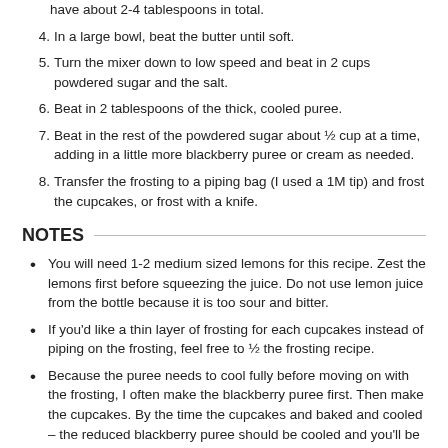have about 2-4 tablespoons in total.
4. In a large bowl, beat the butter until soft.
5. Turn the mixer down to low speed and beat in 2 cups powdered sugar and the salt.
6. Beat in 2 tablespoons of the thick, cooled puree.
7. Beat in the rest of the powdered sugar about ½ cup at a time, adding in a little more blackberry puree or cream as needed.
8. Transfer the frosting to a piping bag (I used a 1M tip) and frost the cupcakes, or frost with a knife.
NOTES
You will need 1-2 medium sized lemons for this recipe. Zest the lemons first before squeezing the juice. Do not use lemon juice from the bottle because it is too sour and bitter.
If you'd like a thin layer of frosting for each cupcakes instead of piping on the frosting, feel free to ½ the frosting recipe.
Because the puree needs to cool fully before moving on with the frosting, I often make the blackberry puree first. Then make the cupcakes. By the time the cupcakes and baked and cooled – the reduced blackberry puree should be cooled and you'll be ready to make the frosting.